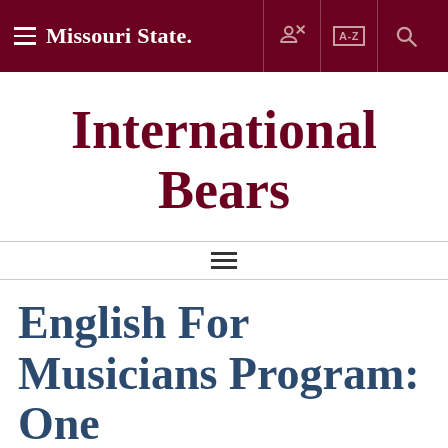Missouri State — navigation bar with hamburger menu, key icon, A-Z index, and search
International Bears
[Figure (other): Horizontal menu/hamburger icon — three horizontal lines centered between two horizontal divider lines]
English For Musicians Program: One